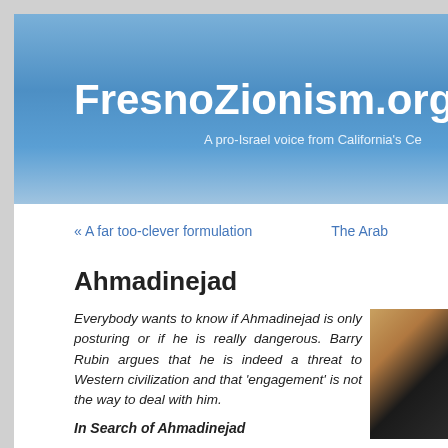FresnoZionism.org –
A pro-Israel voice from California's Ce
« A far too-clever formulation
The Arab
Ahmadinejad
Everybody wants to know if Ahmadinejad is only posturing or if he is really dangerous. Barry Rubin argues that he is indeed a threat to Western civilization and that 'engagement' is not the way to deal with him.
[Figure (photo): Partial photo of a person's face/head, cropped at the right edge]
In Search of Ahmadinejad